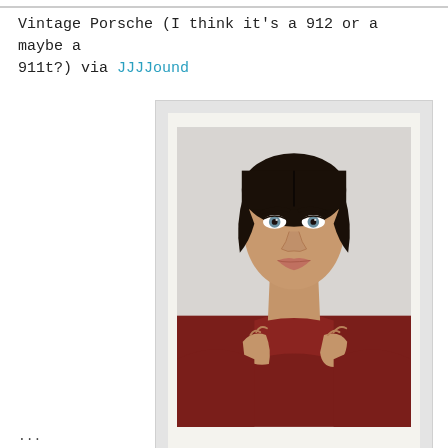Vintage Porsche (I think it's a 912 or a maybe a 911t?) via JJJJound
[Figure (photo): Polaroid-style photograph of a young woman with dark pulled-back hair and blue eyes, wearing a dark red/burgundy turtleneck sweater, hands raised to collar, neutral expression, against a light background.]
...